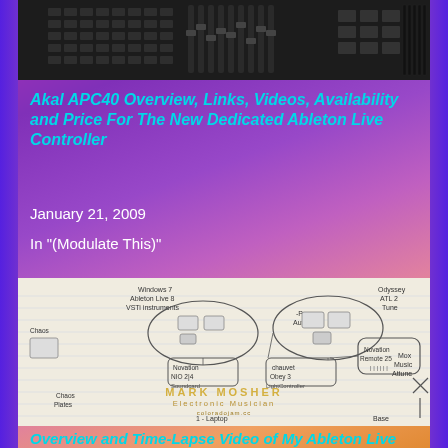[Figure (photo): Photo of Akai APC40 hardware controller device, black with buttons and faders, against dark background]
Akal APC40 Overview, Links, Videos, Availability and Price For The New Dedicated Ableton Live Controller
January 21, 2009
In "(Modulate This)"
[Figure (photo): Hand-drawn sketch/diagram of an Ableton Live laptop music rig setup by Mark Mosher, Electronic Musician. Shows Windows 7, Ableton Live 8, VSTi instruments, Novation NIO 2|4 soundcard, various controllers and connections. Watermark reads MARK MOSHER / Electronic Musician.]
Overview and Time-Lapse Video of My Ableton Live Laptop Music Rig +